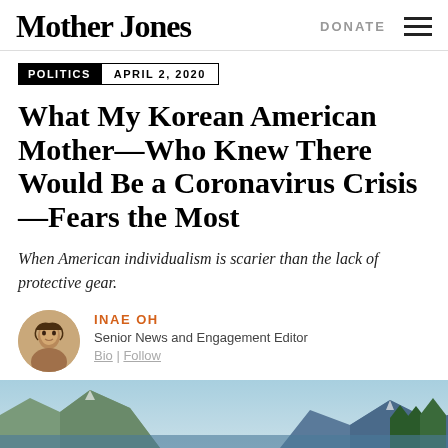Mother Jones | DONATE
POLITICS  APRIL 2, 2020
What My Korean American Mother—Who Knew There Would Be a Coronavirus Crisis—Fears the Most
When American individualism is scarier than the lack of protective gear.
INAE OH
Senior News and Engagement Editor
Bio | Follow
[Figure (photo): Landscape photo at the bottom of the page showing mountains and trees]